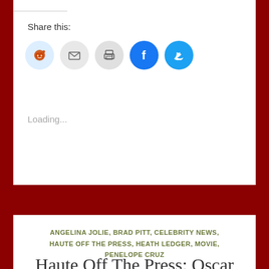Share this:
[Figure (other): Social sharing icons: Reddit (light blue circle), Email (grey circle), Print (grey circle), Facebook (blue circle), Twitter (light blue circle)]
Loading...
ANGELINA JOLIE, BRAD PITT, CELEBRITY NEWS, HAUTE OFF THE PRESS, HEATH LEDGER, MOVIE, PENELOPE CRUZ
Haute Off The Press: Oscar